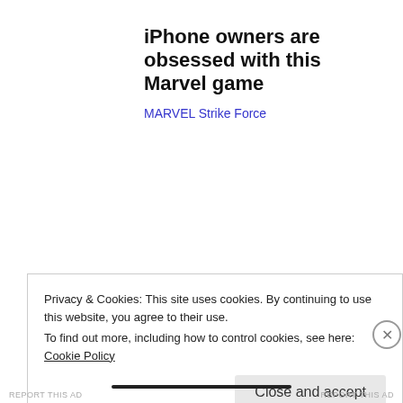iPhone owners are obsessed with this Marvel game
MARVEL Strike Force
Privacy & Cookies: This site uses cookies. By continuing to use this website, you agree to their use.
To find out more, including how to control cookies, see here: Cookie Policy
Close and accept